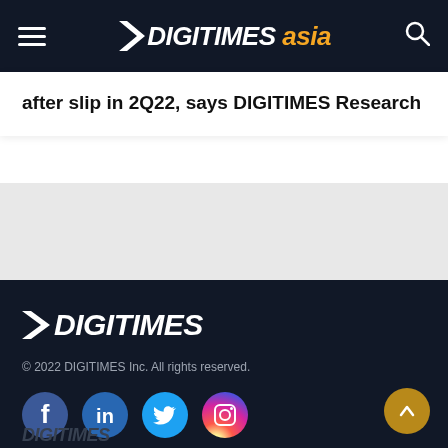DIGITIMES asia
after slip in 2Q22, says DIGITIMES Research
[Figure (logo): DIGITIMES footer logo in white italic bold text on dark background]
© 2022 DIGITIMES Inc. All rights reserved.
[Figure (illustration): Social media icons row: Facebook, LinkedIn, Twitter, Instagram circular icons]
DIGITIMES